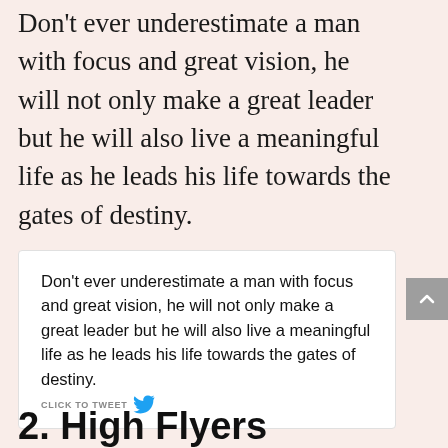Don't ever underestimate a man with focus and great vision, he will not only make a great leader but he will also live a meaningful life as he leads his life towards the gates of destiny.
Don't ever underestimate a man with focus and great vision, he will not only make a great leader but he will also live a meaningful life as he leads his life towards the gates of destiny. CLICK TO TWEET
2. High Flyers